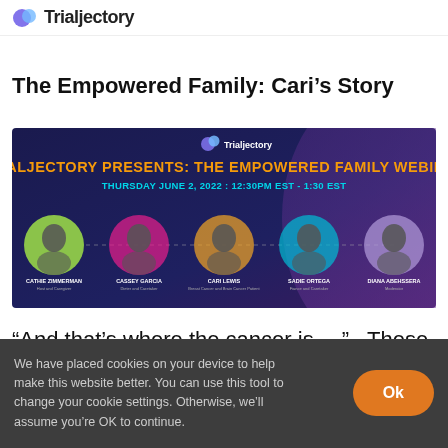Trialjectory
The Empowered Family: Cari’s Story
[Figure (infographic): Trialjectory webinar banner showing 'TRIALJECTORY PRESENTS: THE EMPOWERED FAMILY WEBINAR, THURSDAY JUNE 2, 2022 : 12:30PM EST - 1:30 EST' with five speaker headshots: Cathie Zimmerman, Cassey Garcia, Cari Lewis, Sadie Ortega, Diana Abehssera]
“And that’s where the cancer is….”.  These six
We have placed cookies on your device to help make this website better. You can use this tool to change your cookie settings. Otherwise, we’ll assume you’re OK to continue.